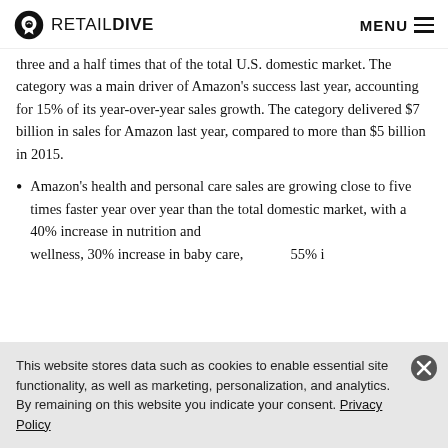RETAIL DIVE — MENU
three and a half times that of the total U.S. domestic market. The category was a main driver of Amazon's success last year, accounting for 15% of its year-over-year sales growth. The category delivered $7 billion in sales for Amazon last year, compared to more than $5 billion in 2015.
Amazon's health and personal care sales are growing close to five times faster year over year than the total domestic market, with a 40% increase in nutrition and wellness, 30% increase in baby care, over 55% in…
This website stores data such as cookies to enable essential site functionality, as well as marketing, personalization, and analytics. By remaining on this website you indicate your consent. Privacy Policy